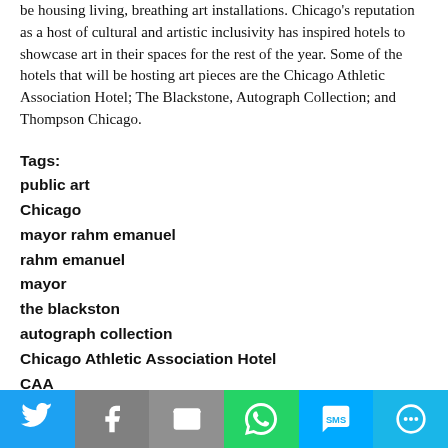be housing living, breathing art installations. Chicago's reputation as a host of cultural and artistic inclusivity has inspired hotels to showcase art in their spaces for the rest of the year. Some of the hotels that will be hosting art pieces are the Chicago Athletic Association Hotel; The Blackstone, Autograph Collection; and Thompson Chicago.
Tags:
public art
Chicago
mayor rahm emanuel
rahm emanuel
mayor
the blackston
autograph collection
Chicago Athletic Association Hotel
CAA
thompson
Michigan Avenue
art hall
superflat
[Figure (infographic): Social sharing buttons bar: Twitter (blue), Facebook (gray), Email (gray), WhatsApp (green), SMS (light blue), More (cyan)]